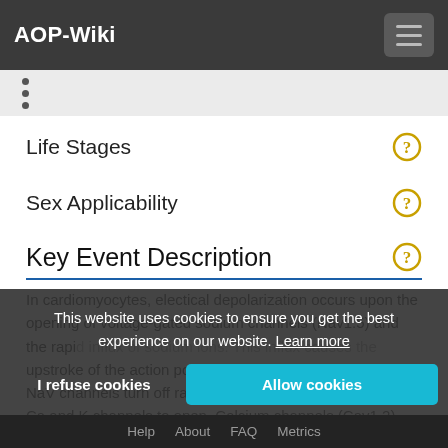AOP-Wiki
•
•
•
Life Stages
Sex Applicability
Key Event Description
In cardiomyocytes, electical depolarization occurs upon the opening of voltage-gated sodium channels (Nav1.5) and the rapid influx of sodium ions. This influx causes the upstroke of the action potential (phase 0 in a human EKG). NaV channels turn off rapidly, but the depolarization causes Ca and K channels to open. Calcium channels (Cav1.2)
This website uses cookies to ensure you get the best experience on our website. Learn more
Help   About   FAQ   Metrics